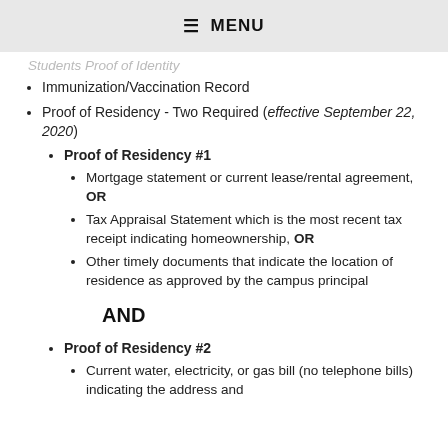≡ MENU
Students Proof of Identity (faded/partial)
Immunization/Vaccination Record
Proof of Residency - Two Required (effective September 22, 2020)
Proof of Residency #1
Mortgage statement or current lease/rental agreement, OR
Tax Appraisal Statement which is the most recent tax receipt indicating homeownership, OR
Other timely documents that indicate the location of residence as approved by the campus principal
AND
Proof of Residency #2
Current water, electricity, or gas bill (no telephone bills) indicating the address and...